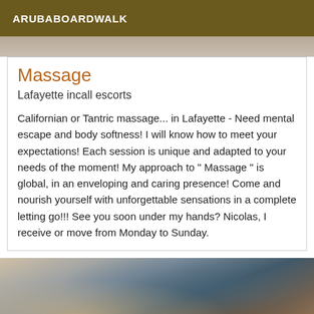ARUBABOARDWALK
[Figure (photo): Partial top photo strip, cropped]
Massage
Lafayette incall escorts
Californian or Tantric massage... in Lafayette - Need mental escape and body softness! I will know how to meet your expectations! Each session is unique and adapted to your needs of the moment! My approach to " Massage " is global, in an enveloping and caring presence! Come and nourish yourself with unforgettable sensations in a complete letting go!!! See you soon under my hands? Nicolas, I receive or move from Monday to Sunday.
[Figure (photo): Photo of a person in blue lace clothing, partially visible, lying down]